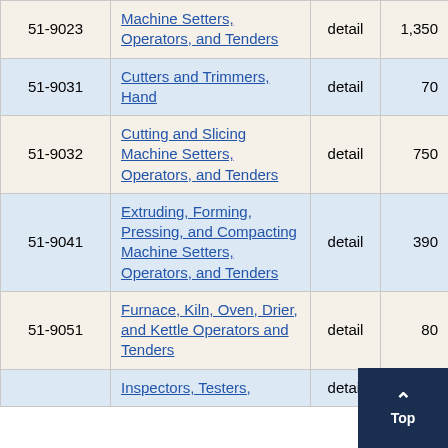| Code | Occupation | Level | Employment |  |
| --- | --- | --- | --- | --- |
| 51-9023 | Machine Setters, Operators, and Tenders | detail | 1,350 | 7 |
| 51-9031 | Cutters and Trimmers, Hand | detail | 70 | 14 |
| 51-9032 | Cutting and Slicing Machine Setters, Operators, and Tenders | detail | 750 | 11 |
| 51-9041 | Extruding, Forming, Pressing, and Compacting Machine Setters, Operators, and Tenders | detail | 390 | 19 |
| 51-9051 | Furnace, Kiln, Oven, Drier, and Kettle Operators and Tenders | detail | 80 | 17 |
|  | Inspectors, Testers, | detail |  |  |